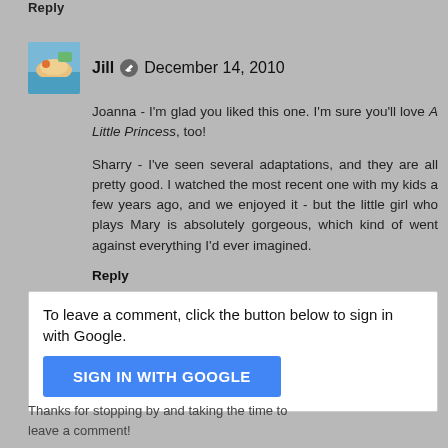Reply
Jill  December 14, 2010
Joanna - I'm glad you liked this one. I'm sure you'll love A Little Princess, too!

Sharry - I've seen several adaptations, and they are all pretty good. I watched the most recent one with my kids a few years ago, and we enjoyed it - but the little girl who plays Mary is absolutely gorgeous, which kind of went against everything I'd ever imagined.
Reply
To leave a comment, click the button below to sign in with Google.
SIGN IN WITH GOOGLE
Thanks for stopping by and taking the time to leave a comment!